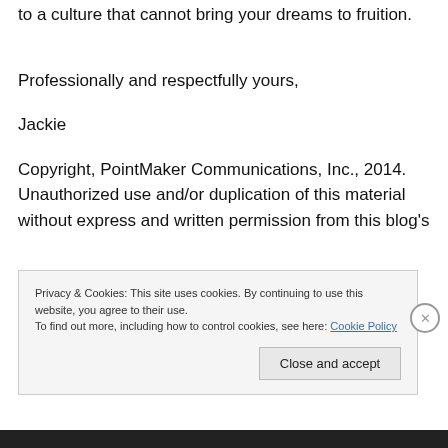to a culture that cannot bring your dreams to fruition.
Professionally and respectfully yours,
Jackie
Copyright, PointMaker Communications, Inc., 2014. Unauthorized use and/or duplication of this material without express and written permission from this blog's
Privacy & Cookies: This site uses cookies. By continuing to use this website, you agree to their use.
To find out more, including how to control cookies, see here: Cookie Policy
Close and accept